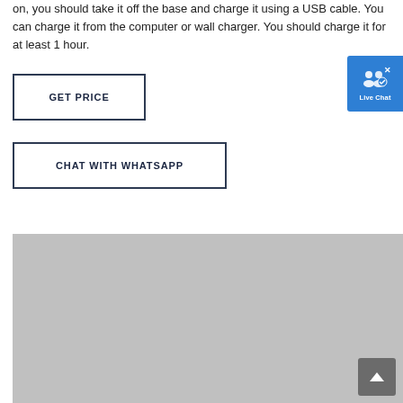on, you should take it off the base and charge it using a USB cable. You can charge it from the computer or wall charger. You should charge it for at least 1 hour.
[Figure (screenshot): GET PRICE button — rectangular button with dark border]
[Figure (screenshot): CHAT WITH WHATSAPP button — rectangular button with dark border]
[Figure (illustration): Live Chat widget — blue rounded square icon with two person silhouettes and a checkmark, labeled Live Chat, with X close button]
[Figure (photo): Gray image placeholder area filling bottom portion of page]
[Figure (other): Scroll-to-top button — dark gray rounded square with upward arrow]